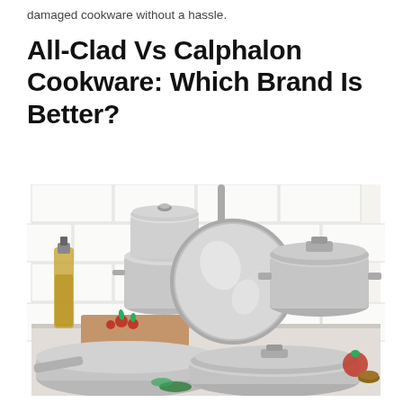damaged cookware without a hassle.
All-Clad Vs Calphalon Cookware: Which Brand Is Better?
[Figure (photo): A set of stainless steel cookware including pans, pots, and lids arranged on a kitchen countertop with white subway tile backsplash, a bottle of oil and radishes nearby.]